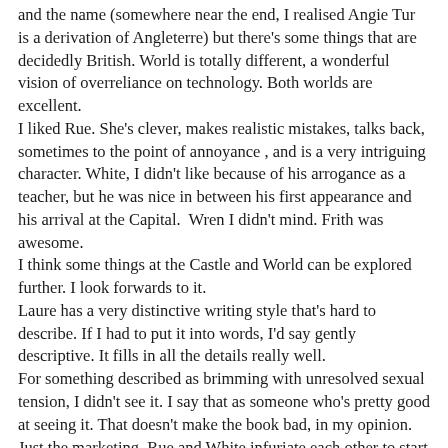and the name  (somewhere near the end, I realised Angie Tur is a derivation of Angleterre) but there's some things that are decidedly British. World is totally different, a wonderful vision of overreliance on technology. Both worlds are excellent.
I liked Rue. She's clever, makes realistic mistakes, talks back, sometimes to the point of annoyance , and is a very intriguing character. White, I didn't like because of his arrogance as a teacher, but he was nice in between his first appearance and his arrival at the Capital.  Wren I didn't mind. Frith was awesome.
I think some things at the Castle and World can be explored further. I look forwards to it.
Laure has a very distinctive writing style that's hard to describe. If I had to put it into words, I'd say gently descriptive. It fills in all the details really well.
For something described as brimming with unresolved sexual tension, I didn't see it. I say that as someone who's pretty good at seeing it. That doesn't make the book bad, in my opinion. Just the marketing. Rue and White infuriate each other to start with, and dancing a dance of intent doesn't change it that much.
It's a slow book,  a lot of build up, then the end happens when everything happens,
I love the dreams and the idea of being able to jump. It's a new